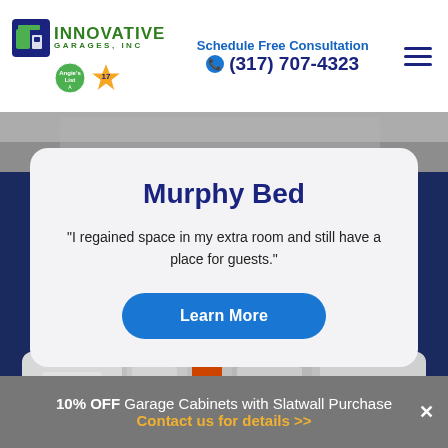Innovative Garages, Inc. | Schedule Free Consultation | (317) 707-4323
[Figure (photo): Partial view of a room with a Murphy bed, faded at top]
Murphy Bed
"I regained space in my extra room and still have a place for guests."
Learn More
[Figure (photo): Interior room with white shelving and orange vase]
10% OFF Garage Cabinets with Slatwall Purchase
Contact us for details >>